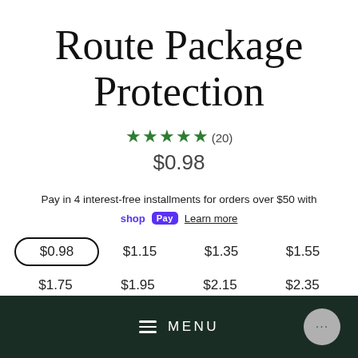Route Package Protection
★★★★★ (20)
$0.98
Pay in 4 interest-free installments for orders over $50 with shop Pay  Learn more
$0.98  $1.15  $1.35  $1.55
$1.75  $1.95  $2.15  $2.35
MENU